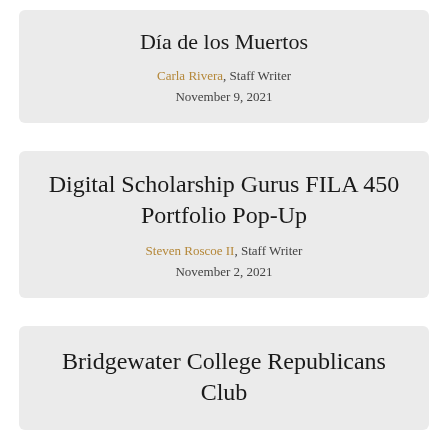Día de los Muertos
Carla Rivera, Staff Writer
November 9, 2021
Digital Scholarship Gurus FILA 450 Portfolio Pop-Up
Steven Roscoe II, Staff Writer
November 2, 2021
Bridgewater College Republicans Club